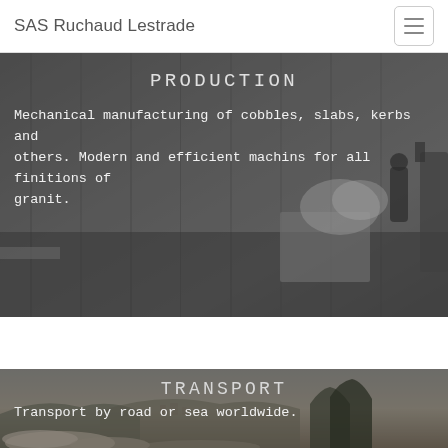SAS Ruchaud Lestrade
[Figure (photo): Industrial granite workshop interior showing stone slabs and a worker operating machinery with dust/smoke visible, dark and gritty environment]
PRODUCTION
Mechanical manufacturing of cobbles, slabs, kerbs and others. Modern and efficient machins for all finitions of granit.
[Figure (photo): Outdoor landscape photo showing hills, trees and a distant town or quarry site under a hazy sky with piles of stone or gravel in the foreground]
TRANSPORT
Transport by road or sea worldwide.